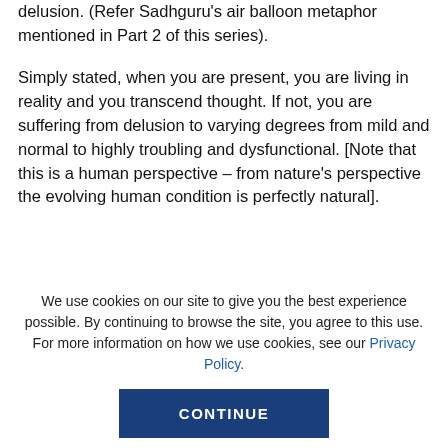delusion. (Refer Sadhguru's air balloon metaphor mentioned in Part 2 of this series).
Simply stated, when you are present, you are living in reality and you transcend thought. If not, you are suffering from delusion to varying degrees from mild and normal to highly troubling and dysfunctional. [Note that this is a human perspective – from nature's perspective the evolving human condition is perfectly natural].
We use cookies on our site to give you the best experience possible. By continuing to browse the site, you agree to this use. For more information on how we use cookies, see our Privacy Policy.
CONTINUE